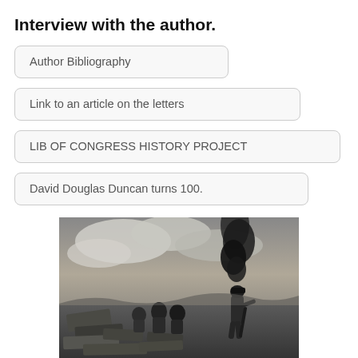Interview with the author.
Author Bibliography
Link to an article on the letters
LIB OF CONGRESS HISTORY PROJECT
David Douglas Duncan turns 100.
[Figure (photo): Black and white war photograph showing soldiers in a battlefield with smoke rising in the background, debris and equipment scattered on the ground.]